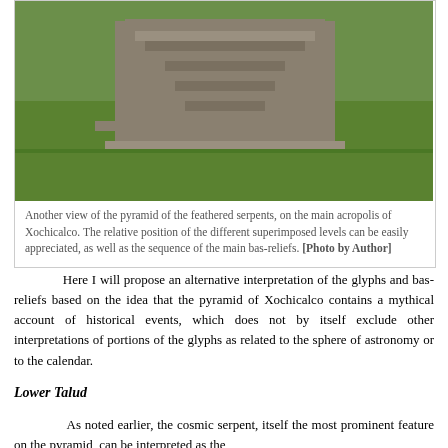[Figure (photo): Photograph of the pyramid of the feathered serpents at Xochicalco, showing the main acropolis with superimposed levels and bas-reliefs visible, surrounded by green grass.]
Another view of the pyramid of the feathered serpents, on the main acropolis of Xochicalco. The relative position of the different superimposed levels can be easily appreciated, as well as the sequence of the main bas-reliefs. [Photo by Author]
Here I will propose an alternative interpretation of the glyphs and bas-reliefs based on the idea that the pyramid of Xochicalco contains a mythical account of historical events, which does not by itself exclude other interpretations of portions of the glyphs as related to the sphere of astronomy or to the calendar.
Lower Talud
As noted earlier, the cosmic serpent, itself the most prominent feature on the pyramid, can be interpreted as the